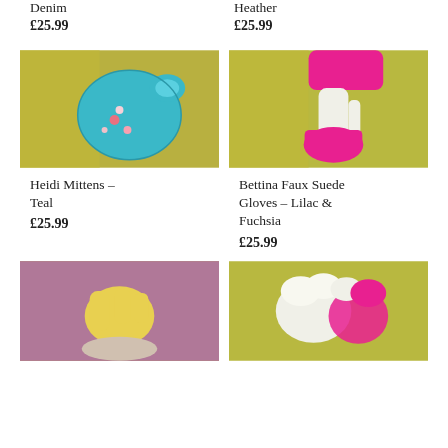Denim
Heather
£25.99
£25.99
[Figure (photo): Teal embroidered mittens with floral design held against yellow-green fabric]
[Figure (photo): Pink faux suede gloves with white inner glove against yellow-green fabric]
Heidi Mittens – Teal
Bettina Faux Suede Gloves – Lilac & Fuchsia
£25.99
£25.99
[Figure (photo): Yellow gloves held up against pinkish-purple background]
[Figure (photo): White and pink ruffled gloves against yellow-green background]